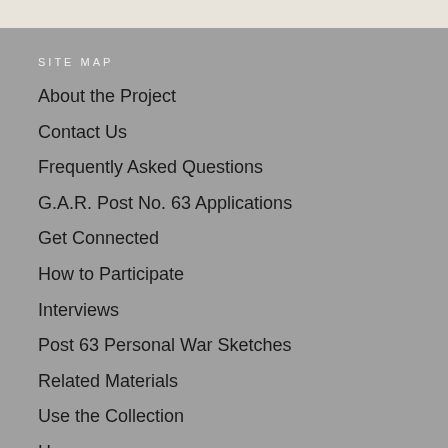SITE MAP
About the Project
Contact Us
Frequently Asked Questions
G.A.R. Post No. 63 Applications
Get Connected
How to Participate
Interviews
Post 63 Personal War Sketches
Related Materials
Use the Collection
Home